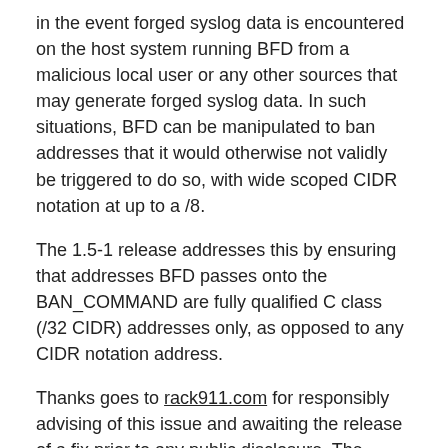in the event forged syslog data is encountered on the host system running BFD from a malicious local user or any other sources that may generate forged syslog data. In such situations, BFD can be manipulated to ban addresses that it would otherwise not validly be triggered to do so, with wide scoped CIDR notation at up to a /8.
The 1.5-1 release addresses this by ensuring that addresses BFD passes onto the BAN_COMMAND are fully qualified C class (/32 CIDR) addresses only, as opposed to any CIDR notation address.
Thanks goes to rack911.com for responsibly advising of this issue and awaiting the release of a fix prior to any public disclosure. The responsible disclosure practices of rack911.com are a statement to their professionalism as a managed services provider as well as their dedication